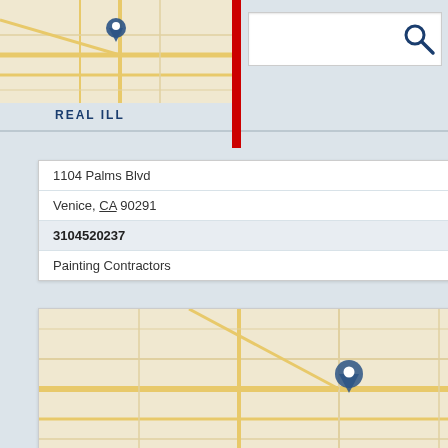[Figure (screenshot): Map thumbnail showing street map with blue location pin, partially visible at top left]
[Figure (screenshot): Search bar with magnifying glass icon]
REAL ILL
1104 Palms Blvd
Venice, CA 90291
3104520237
Painting Contractors
[Figure (map): Street map thumbnail with blue location pin for Red Hot Video]
RED HOT VIDEO
835 Lincoln Blvd
Venice, CA 90291
3103994289
Equipment Rental
Rental Equipment
Video Camera Rental
Videos
[Figure (map): Street map thumbnail partially visible at bottom of page]